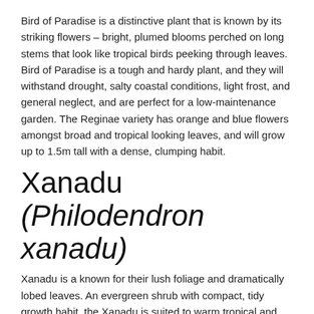Bird of Paradise is a distinctive plant that is known by its striking flowers – bright, plumed blooms perched on long stems that look like tropical birds peeking through leaves. Bird of Paradise is a tough and hardy plant, and they will withstand drought, salty coastal conditions, light frost, and general neglect, and are perfect for a low-maintenance garden. The Reginae variety has orange and blue flowers amongst broad and tropical looking leaves, and will grow up to 1.5m tall with a dense, clumping habit.
Xanadu (Philodendron xanadu)
Xanadu is a known for their lush foliage and dramatically lobed leaves. An evergreen shrub with compact, tidy growth habit, the Xanadu is suited to warm tropical and subtropical climate, and full-sun or partly-shaded areas. Xanadu is also very low maintenance and does not produce aerial roots.
Ruffled Fan Palm (Licuala